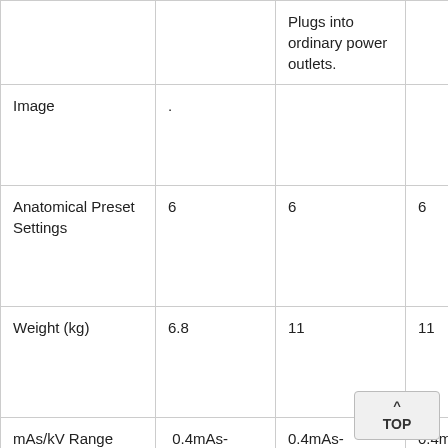|  |  | Plugs into ordinary power outlets. |  | ordi
pow |
| Image | . |  |  |  |
| Anatomical Preset Settings | 6 | 6 | 6 | 6 |
| Weight (kg) | 6.8 | 11 | 11 | 12 |
| mAs/kV Range | 0.4mAs-100mAs, 40kV-90kV (30mA Max) | 0.4mAs-100mAs, 40kV-100kV (40mA Max) | 0.4mAs-100mAs, 40kV-120kV (40mA Max) | 0.4m-100m-100k Max) |